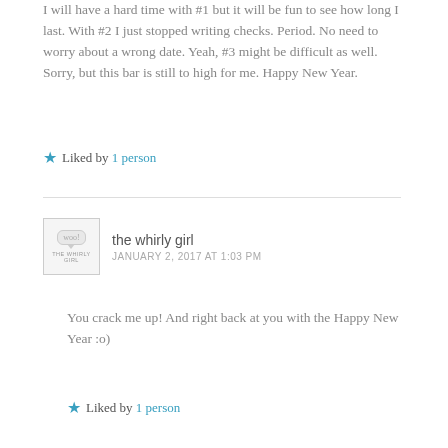I will have a hard time with #1 but it will be fun to see how long I last. With #2 I just stopped writing checks. Period. No need to worry about a wrong date. Yeah, #3 might be difficult as well. Sorry, but this bar is still to high for me. Happy New Year.
Liked by 1 person
the whirly girl
JANUARY 2, 2017 AT 1:03 PM
You crack me up! And right back at you with the Happy New Year :o)
Liked by 1 person